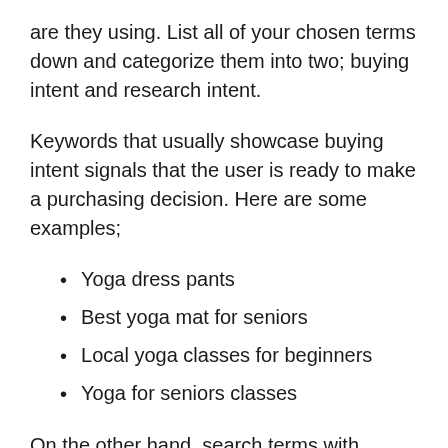are they using. List all of your chosen terms down and categorize them into two; buying intent and research intent.
Keywords that usually showcase buying intent signals that the user is ready to make a purchasing decision. Here are some examples;
Yoga dress pants
Best yoga mat for seniors
Local yoga classes for beginners
Yoga for seniors classes
On the other hand, search terms with research intent usually means the user is gathering more